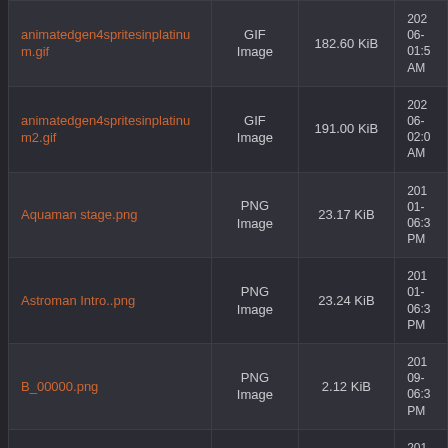| Name | Type | Size | Date |
| --- | --- | --- | --- |
| animatedgen4spritesinplatinum.gif | GIF Image | 182.60 KiB | 202 06- 01:5 AM |
| animatedgen4spritesinplatinum2.gif | GIF Image | 191.00 KiB | 202 06- 02:0 AM |
| Aquaman stage.png | PNG Image | 23.17 KiB | 201 01- 06:3 PM |
| Astroman Intro..png | PNG Image | 23.24 KiB | 201 01- 06:3 PM |
| B_00000.png | PNG Image | 2.12 KiB | 201 09- 06:3 PM |
| Bete Pirate Ranee.PNG | PNG | 4.89 KiB | 201 01- |